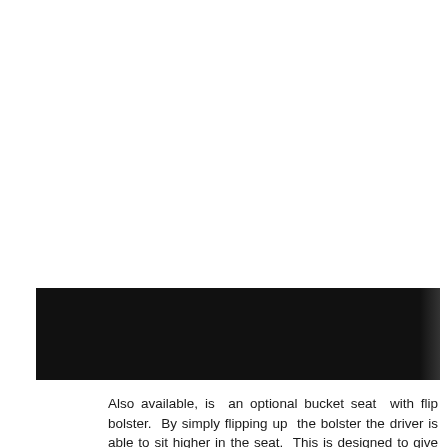[Figure (photo): A mostly black/dark image, likely a photograph of a seat or vehicle interior, partially visible at the bottom right corner.]
Also available, is an optional bucket seat with flip bolster. By simply flipping up the bolster the driver is able to sit higher in the seat. This is designed to give the driver greater flexibility, increased visibility, an